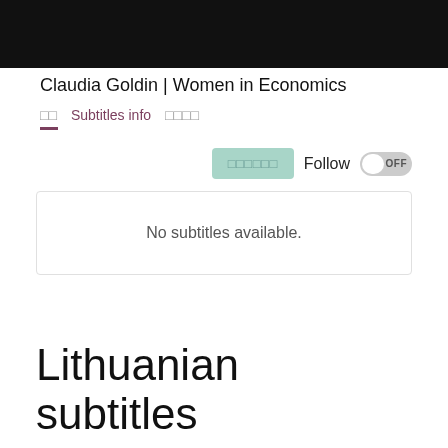[Figure (photo): Black video thumbnail area at top of page]
Claudia Goldin | Women in Economics
□□   Subtitles info   □□□□
□□□□□□   Follow OFF
No subtitles available.
Lithuanian subtitles